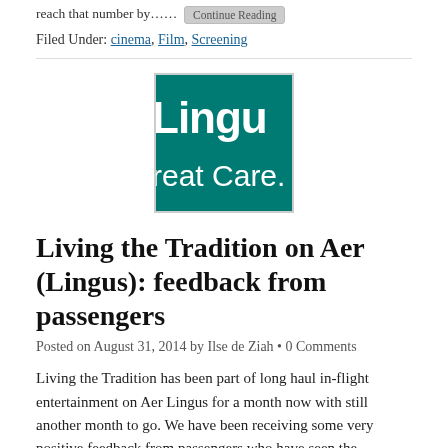reach that number by……  Continue Reading
Filed Under: cinema, Film, Screening
[Figure (logo): Aer Lingus logo — teal/green square with white text showing 'Lingu' on top and 'reat Care.' on bottom, partially cropped]
Living the Tradition on Aer (Lingus): feedback from passengers
Posted on August 31, 2014 by Ilse de Ziah • 0 Comments
Living the Tradition has been part of long haul in-flight entertainment on Aer Lingus for a month now with still another month to go. We have been receiving some very positive feedback from passengers who have seen the